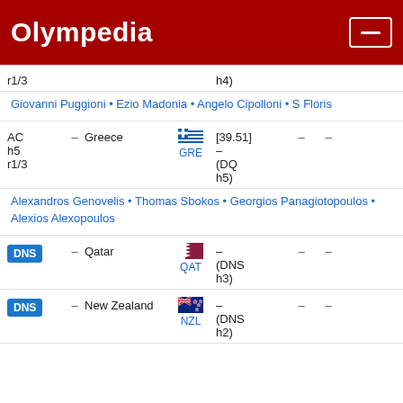Olympedia
r1/3	h4)
Giovanni Puggioni • Ezio Madonia • Angelo Cipolloni • S Floris
| Rank |  | Country | Flag | Time |  |  |
| --- | --- | --- | --- | --- | --- | --- |
| AC h5 r1/3 | – | Greece | GRE | [39.51] (DQ h5) | – | – |
|  |  | Alexandros Genovelis • Thomas Sbokos • Georgios Panagiotopoulos • Alexios Alexopoulos |  |  |  |  |
| DNS | – | Qatar | QAT | – (DNS h3) | – | – |
| DNS | – | New Zealand | NZL | – (DNS h2) | – | – |